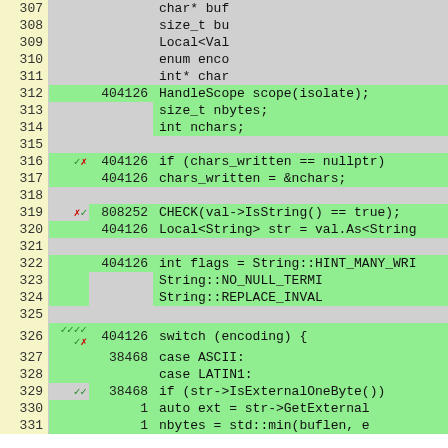| Line | Mark | Count | Code |
| --- | --- | --- | --- |
| 307 |  |  | char* buf |
| 308 |  |  | size_t bu |
| 309 |  |  | Local<Val |
| 310 |  |  | enum enco |
| 311 |  |  | int* char |
| 312 |  | 404126 | HandleScope scope(isolate); |
| 313 |  |  | size_t nbytes; |
| 314 |  |  | int nchars; |
| 315 |  |  |  |
| 316 | ✓✗ | 404126 | if (chars_written == nullptr) |
| 317 |  | 404126 | chars_written = &nchars; |
| 318 |  |  |  |
| 319 | ✗✓ | 808252 | CHECK(val->IsString() == true); |
| 320 |  | 404126 | Local<String> str = val.As<String |
| 321 |  |  |  |
| 322 |  | 404126 | int flags = String::HINT_MANY_WRI |
| 323 |  |  | String::NO_NULL_TERMI |
| 324 |  |  | String::REPLACE_INVAL |
| 325 |  |  |  |
| 326 | ✓✓✓✓ ✓✗ | 404126 | switch (encoding) { |
| 327 |  | 38468 | case ASCII: |
| 328 |  |  | case LATIN1: |
| 329 | ✓✓ | 38468 | if (str->IsExternalOneByte()) |
| 330 |  | 1 | auto ext = str->GetExternal |
| 331 |  | 1 | nbytes = std::min(buflen, e |